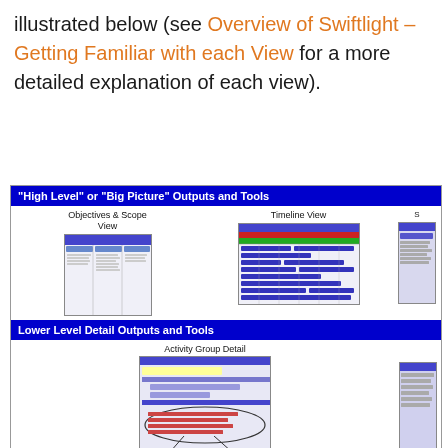illustrated below (see Overview of Swiftlight – Getting Familiar with each View for a more detailed explanation of each view).
[Figure (infographic): Diagram showing 'High Level' or 'Big Picture' Outputs and Tools including Objectives & Scope View, Timeline View, and a partially visible third view; and Lower Level Detail Outputs and Tools including Activity Group Detail, Action List, and Action List over Time with connector arrows.]